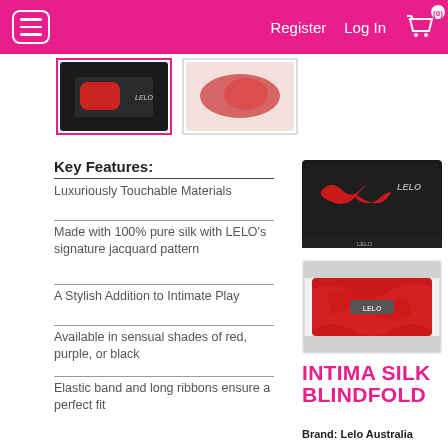Register  Log In  (0)
[Figure (screenshot): Two product thumbnail images of LELO Intima Silk Blindfold — first shows product in box, second shows red fabric close-up]
Key Features:
Luxuriously Touchable Materials
Made with 100% pure silk with LELO's signature jacquard pattern
A Stylish Addition to Intimate Play
Available in sensual shades of red, purple, or black
Elastic band and long ribbons ensure a perfect fit
[Figure (photo): LELO branded black box with red blindfold product inside, viewed from above]
[Figure (photo): Red LELO Intima Silk Blindfold folded in white display tray]
INTIMA SILK BLINDFOLD
Brand: Lelo Australia